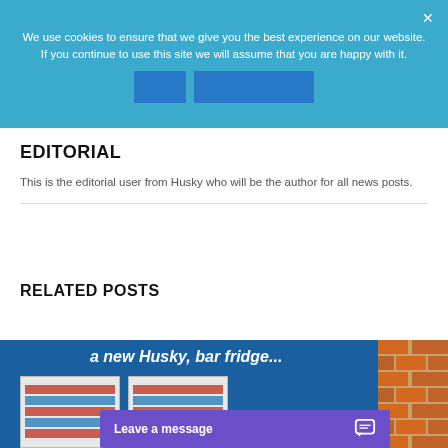We use cookies to ensure that we give you the best experience on our website. If you continue to use this site we will assume that you are happy with it.
EDITORIAL
This is the editorial user from Husky who will be the author for all news posts.
RELATED POSTS
[Figure (photo): Preview image of a Husky fridge/beverage cooler product with text overlay and brick wall background]
Leave a message